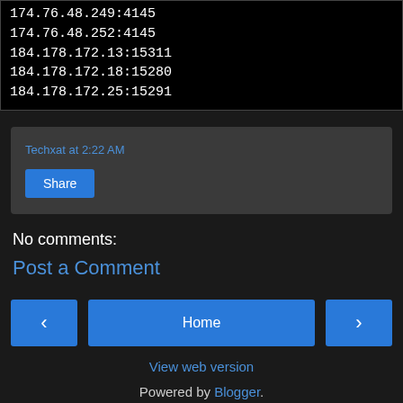174.76.48.249:4145
174.76.48.252:4145
184.178.172.13:15311
184.178.172.18:15280
184.178.172.25:15291
Techxat at 2:22 AM
Share
No comments:
Post a Comment
Home
View web version
Powered by Blogger.